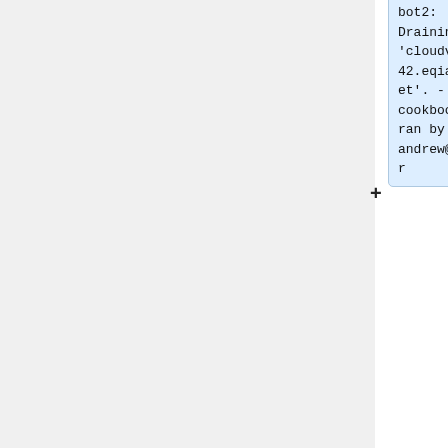bot2: Draining 'cloudvirt1042.eqiad.wmnet'. - cookbook ran by andrew@buster
* 04:51 wm-bot2: Safe rebooting 'cloudvirt1042.eqiad.wmnet'. - cookbook ran by andrew@buster
* 04:48 wm-bot2: Safe